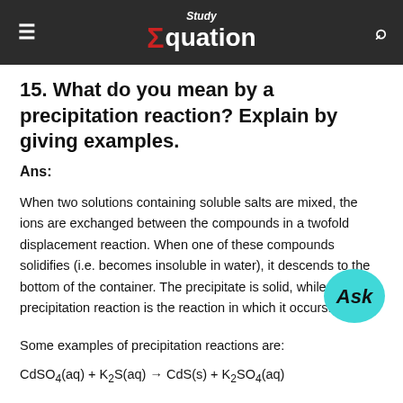Study Equation
15. What do you mean by a precipitation reaction? Explain by giving examples.
Ans:
When two solutions containing soluble salts are mixed, the ions are exchanged between the compounds in a twofold displacement reaction. When one of these compounds solidifies (i.e. becomes insoluble in water), it descends to the bottom of the container. The precipitate is solid, while the precipitation reaction is the reaction in which it occurs.
Some examples of precipitation reactions are: